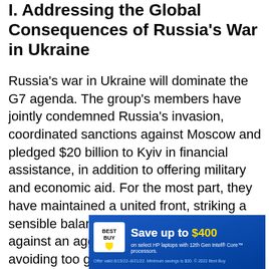I. Addressing the Global Consequences of Russia's War in Ukraine
Russia's war in Ukraine will dominate the G7 agenda. The group's members have jointly condemned Russia's invasion, coordinated sanctions against Moscow and pledged $20 billion to Kyiv in financial assistance, in addition to offering military and economic aid. For the most part, they have maintained a united front, striking a sensible balance between backing Ukraine against an aggressor, on one hand, while avoiding too grave a risk of direct war with Russia, on the other. The war seems set to drag on, with stalemate on most battlefronts. More to the point, the two sides are pursuing incompatible goals – Ukraine to recoup sovereign [territory and Russia to consolidate and]...
[Figure (other): Best Buy advertisement banner: 'Save up to $400 on select HP laptops with 12th Gen Intel Core processors. Offer valid 8/15/22–8/21/22. Minimum savings is $30. © 2022 Best Buy']